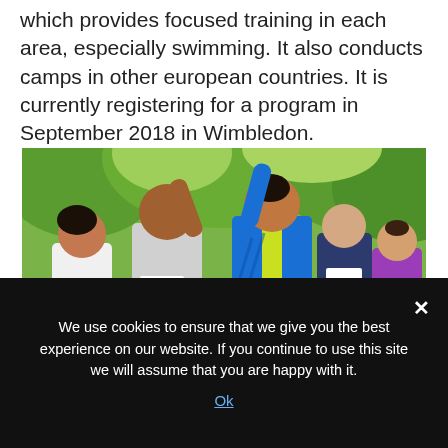which provides focused training in each area, especially swimming. It also conducts camps in other european countries. It is currently registering for a program in September 2018 in Wimbledon.
[Figure (photo): Group of marathon runners in a park giving high fives, wearing race bibs numbered 151, 166, 042, and 15x. Trees visible in background.]
We use cookies to ensure that we give you the best experience on our website. If you continue to use this site we will assume that you are happy with it.
Ok